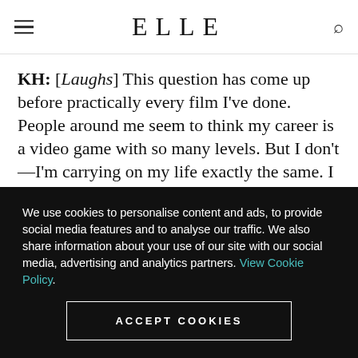ELLE
KH: [Laughs] This question has come up before practically every film I've done. People around me seem to think my career is a video game with so many levels. But I don't—I'm carrying on my life exactly the same. I think celebrity and fame are
We use cookies to personalise content and ads, to provide social media features and to analyse our traffic. We also share information about your use of our site with our social media, advertising and analytics partners. View Cookie Policy.
ACCEPT COOKIES